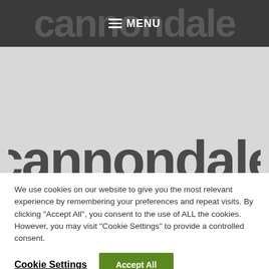cannondale  MENU
[Figure (screenshot): Gray background area showing top portion of a Cannondale logo in dark gray/charcoal color, partially cropped at the bottom]
We use cookies on our website to give you the most relevant experience by remembering your preferences and repeat visits. By clicking "Accept All", you consent to the use of ALL the cookies. However, you may visit "Cookie Settings" to provide a controlled consent.
Cookie Settings   Accept All